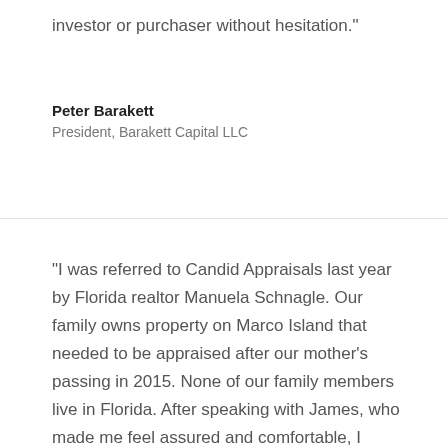investor or purchaser without hesitation."
Peter Barakett
President, Barakett Capital LLC
"I was referred to Candid Appraisals last year by Florida realtor Manuela Schnagle. Our family owns property on Marco Island that needed to be appraised after our mother's passing in 2015. None of our family members live in Florida. After speaking with James, who made me feel assured and comfortable, I decided to hire him on the spot. Mr. Berry is thorough, dedicated, and his professional demeanor is